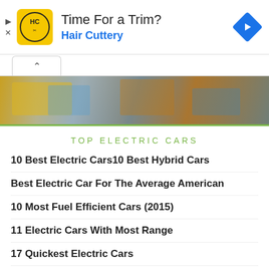[Figure (infographic): Advertisement banner for Hair Cuttery with logo, text 'Time For a Trim? Hair Cuttery', and a blue navigation diamond icon on the right]
[Figure (photo): Hero image of an automotive factory floor with robotic arms and industrial equipment in yellow and blue tones]
TOP ELECTRIC CARS
10 Best Electric Cars10 Best Hybrid Cars
Best Electric Car For The Average American
10 Most Fuel Efficient Cars (2015)
11 Electric Cars With Most Range
17 Quickest Electric Cars
Tesla's Competitive Advantages — 5 Big Ones